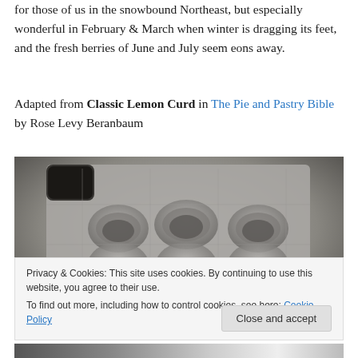for those of us in the snowbound Northeast, but especially wonderful in February & March when winter is dragging its feet, and the fresh berries of June and July seem eons away.
Adapted from Classic Lemon Curd in The Pie and Pastry Bible by Rose Levy Beranbaum
[Figure (photo): An egg carton (grey cardboard/pulp) mostly empty, with one brown egg visible on the left and another partially visible on the right, set on a dark surface.]
Privacy & Cookies: This site uses cookies. By continuing to use this website, you agree to their use.
To find out more, including how to control cookies, see here: Cookie Policy
[Figure (photo): Bottom portion of a photo showing eggs or ingredients, partially visible at the bottom of the page.]